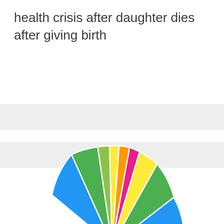health crisis after daughter dies after giving birth
[Figure (pie-chart): Partial pie/donut chart showing multiple colored segments (green, yellow, orange, pink/magenta, yellow, green, blue) arranged in a fan/shell shape, cropped at bottom]